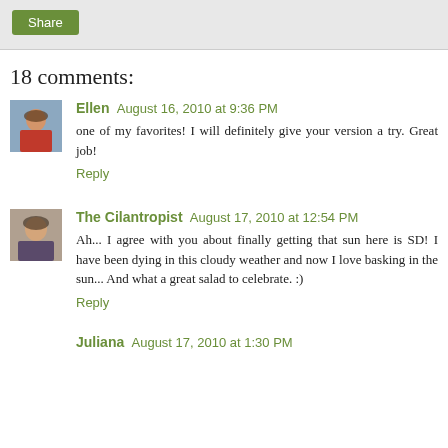[Figure (other): Share button on light gray background]
18 comments:
[Figure (photo): Avatar photo of Ellen - woman with sunglasses]
Ellen August 16, 2010 at 9:36 PM
one of my favorites! I will definitely give your version a try. Great job!
Reply
[Figure (photo): Avatar photo of The Cilantropist - woman smiling]
The Cilantropist August 17, 2010 at 12:54 PM
Ah... I agree with you about finally getting that sun here is SD! I have been dying in this cloudy weather and now I love basking in the sun... And what a great salad to celebrate. :)
Reply
Juliana August 17, 2010 at 1:30 PM